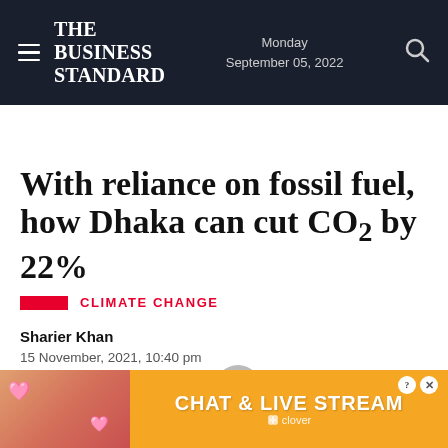The Business Standard — Monday September 05, 2022
With reliance on fossil fuel, how Dhaka can cut CO2 by 22%
CLIMATE CHANGE
Sharier Khan
15 November, 2021, 10:40 pm
Last modified: 16 November, 3:44 pm
[Figure (other): Advertisement banner: Chat & Live Stream - Clover app ad with woman on beach background]